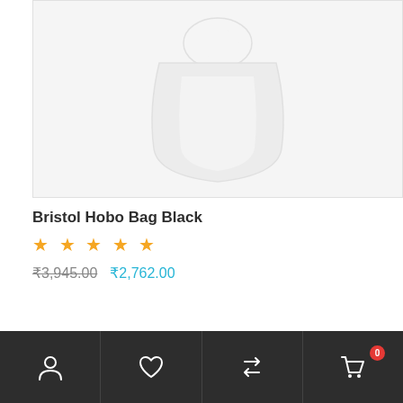[Figure (photo): Product image of Bristol Hobo Bag Black — a white/light grey hobo bag shape on a light grey background with border]
Bristol Hobo Bag Black
★ ★ ★ ★ ★ (4 stars filled, 1 empty or partial)
₹3,945.00  ₹2,762.00
[Figure (screenshot): Bottom navigation bar with icons: account/user, heart/wishlist, compare/refresh arrows, shopping cart with badge showing 0]